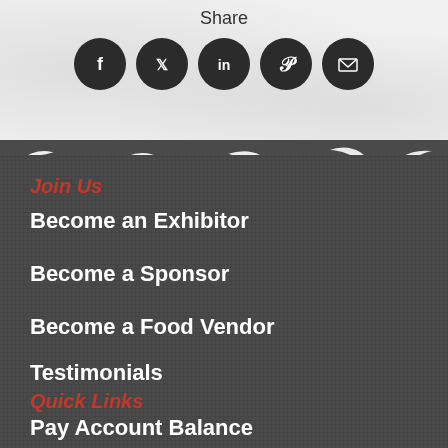Share
[Figure (illustration): Five circular dark social media icons: Facebook, Twitter, LinkedIn, Pinterest, Email]
Join Us
Become an Exhibitor
Become a Sponsor
Become a Food Vendor
Testimonials
Quick Links
Pay Account Balance